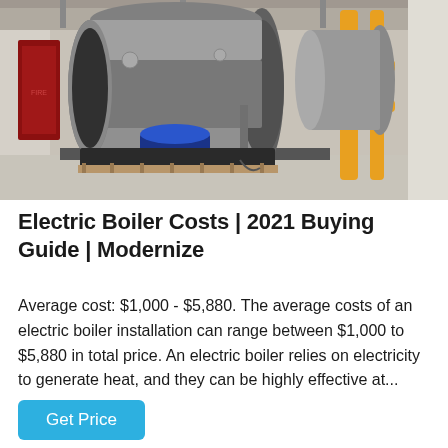[Figure (photo): Industrial boiler room with large cylindrical silver/steel boiler in the foreground, blue burner component visible, yellow gas pipes on the right side, concrete floor, industrial ceiling structure visible.]
Electric Boiler Costs | 2021 Buying Guide | Modernize
Average cost: $1,000 - $5,880. The average costs of an electric boiler installation can range between $1,000 to $5,880 in total price. An electric boiler relies on electricity to generate heat, and they can be highly effective at...
Get Price